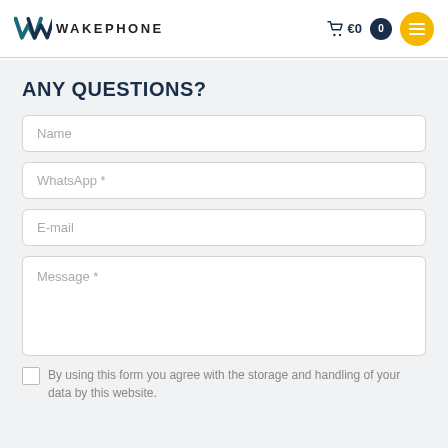WAKEPHONE — €0 cart, 0 items, menu button
ANY QUESTIONS?
Name
WhatsApp *
E-mail
Message *
By using this form you agree with the storage and handling of your data by this website.